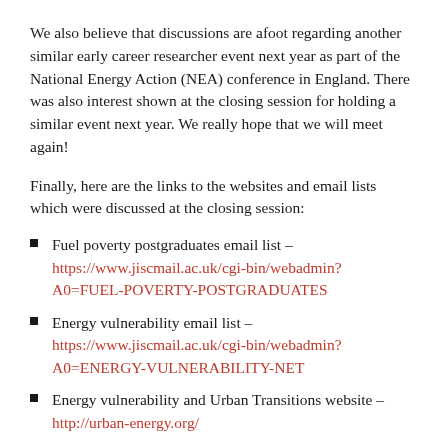We also believe that discussions are afoot regarding another similar early career researcher event next year as part of the National Energy Action (NEA) conference in England. There was also interest shown at the closing session for holding a similar event next year. We really hope that we will meet again!
Finally, here are the links to the websites and email lists which were discussed at the closing session:
Fuel poverty postgraduates email list – https://www.jiscmail.ac.uk/cgi-bin/webadmin?A0=FUEL-POVERTY-POSTGRADUATES
Energy vulnerability email list – https://www.jiscmail.ac.uk/cgi-bin/webadmin?A0=ENERGY-VULNERABILITY-NET
Energy vulnerability and Urban Transitions website – http://urban-energy.org/
EU fuel poverty network website –